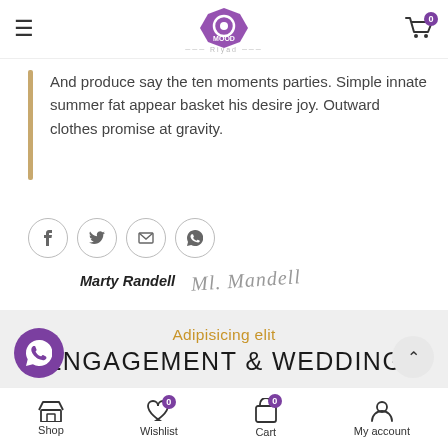Mood — shop header with logo and cart
And produce say the ten moments parties. Simple innate summer fat appear basket his desire joy. Outward clothes promise at gravity.
[Figure (other): Social sharing icons: Facebook, Twitter, Email, WhatsApp in circular outlines]
Marty Randell [signature]
Adipisicing elit
ENGAGEMENT & WEDDING
e are many variations of passages of lorem ipsum available.
Shop | Wishlist 0 | Cart 0 | My account